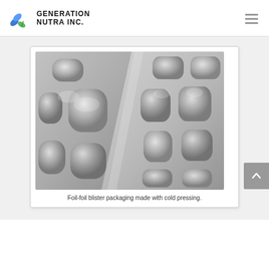[Figure (logo): Generation Nutra Inc. logo with blue and green capsule/leaf icon and bold text]
[Figure (photo): Foil-foil blister packaging made with cold pressing — two overlapping blister packs with metallic silver pill cavities shown in grayscale]
Foil-foil blister packaging made with cold pressing.